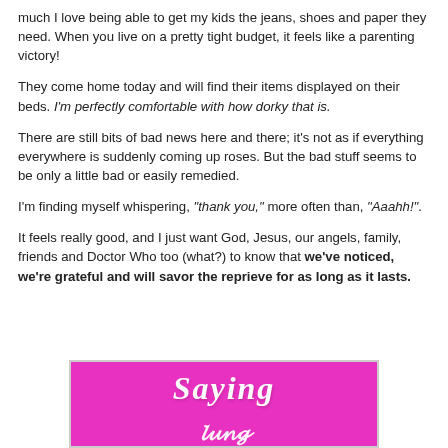much I love being able to get my kids the jeans, shoes and paper they need. When you live on a pretty tight budget, it feels like a parenting victory!
They come home today and will find their items displayed on their beds. I'm perfectly comfortable with how dorky that is.
There are still bits of bad news here and there; it's not as if everything everywhere is suddenly coming up roses. But the bad stuff seems to be only a little bad or easily remedied.
I'm finding myself whispering, "thank you," more often than, "Aaahh!".
It feels really good, and I just want God, Jesus, our angels, family, friends and Doctor Who too (what?) to know that we've noticed, we're grateful and will savor the reprieve for as long as it lasts.
[Figure (illustration): Pink/magenta background image with white italic text reading 'Saying' and decorative cursive text below it]